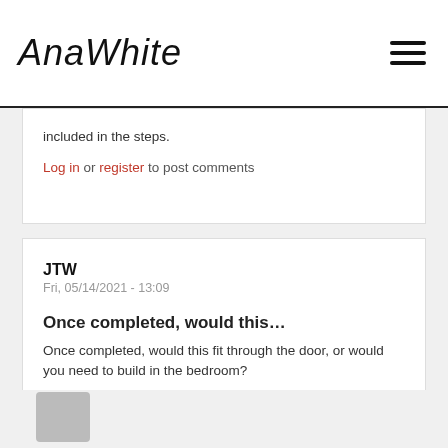AnaWhite
included in the steps.
Log in or register to post comments
JTW
Fri, 05/14/2021 - 13:09
Once completed, would this...
Once completed, would this fit through the door, or would you need to build in the bedroom?
Log in or register to post comments